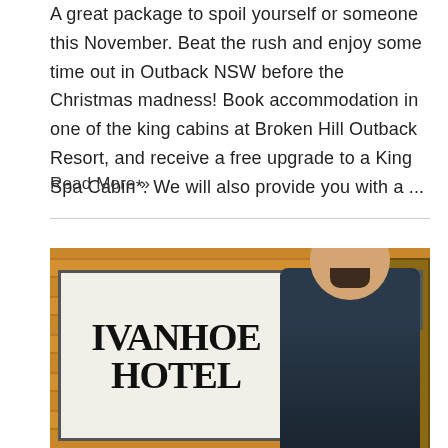A great package to spoil yourself or someone this November. Beat the rush and enjoy some time out in Outback NSW before the Christmas madness! Book accommodation in one of the king cabins at Broken Hill Outback Resort, and receive a free upgrade to a King Spa Cabin*. We will also provide you with a ...
Read More »
[Figure (photo): Photo of a man in a dark polo shirt with 'Outback' logo standing in front of a wooden wall with a large black-and-white 'IVANHOE HOTEL' sign]